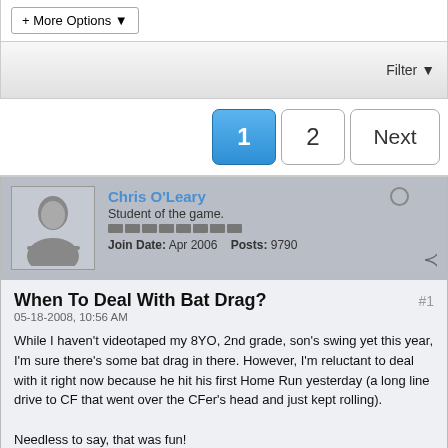+ More Options
Filter
1  2  Next
Chris O'Leary
Student of the game.
Join Date: Apr 2006  Posts: 9790
When To Deal With Bat Drag?
05-18-2008, 10:56 AM
While I haven't videotaped my 8YO, 2nd grade, son's swing yet this year, I'm sure there's some bat drag in there. However, I'm reluctant to deal with it right now because he hit his first Home Run yesterday (a long line drive to CF that went over the CFer's head and just kept rolling).

Needless to say, that was fun!